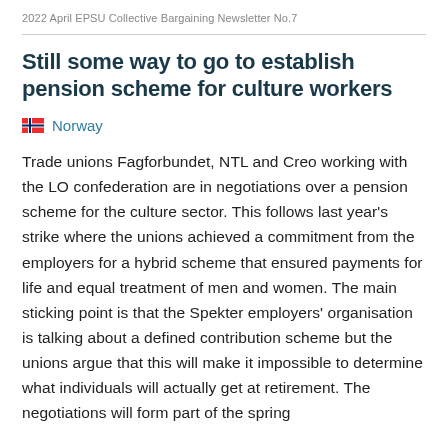2022 April EPSU Collective Bargaining Newsletter No.7
Still some way to go to establish pension scheme for culture workers
Norway
Trade unions Fagforbundet, NTL and Creo working with the LO confederation are in negotiations over a pension scheme for the culture sector. This follows last year's strike where the unions achieved a commitment from the employers for a hybrid scheme that ensured payments for life and equal treatment of men and women. The main sticking point is that the Spekter employers' organisation is talking about a defined contribution scheme but the unions argue that this will make it impossible to determine what individuals will actually get at retirement. The negotiations will form part of the spring